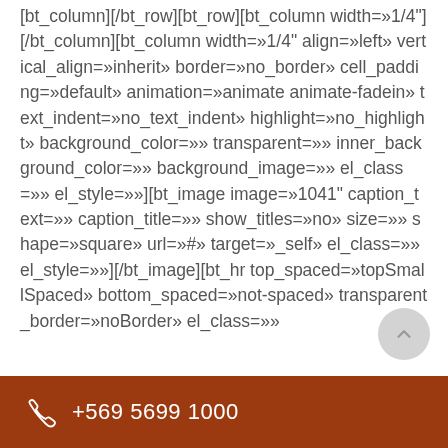[bt_column][/bt_row][bt_row][bt_column width=»1/4"][/bt_column][bt_column width=»1/4" align=»left» vertical_align=»inherit» border=»no_border» cell_padding=»default» animation=»animate animate-fadein» text_indent=»no_text_indent» highlight=»no_highlight» background_color=»» transparent=»» inner_background_color=»» background_image=»» el_class=»» el_style=»»][bt_image image=»1041" caption_text=»» caption_title=»» show_titles=»no» size=»» shape=»square» url=»#» target=»_self» el_class=»» el_style=»»][/bt_image][bt_hr top_spaced=»topSmallSpaced» bottom_spaced=»not-spaced» transparent_border=»noBorder» el_class=»»
+569 5699 1000